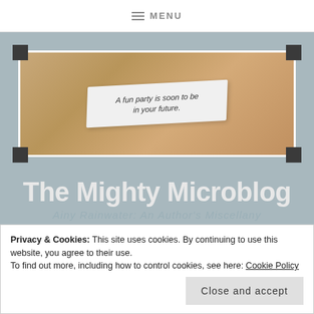≡ MENU
[Figure (photo): A fortune cookie slip on a wooden table surface reading 'A fun party is soon to be in your future.' displayed inside a white-bordered photo frame with dark corner brackets on a gray-blue background.]
The Mighty Microblog
Ainy Rainwater: An Author's Miscellany
Privacy & Cookies: This site uses cookies. By continuing to use this website, you agree to their use.
To find out more, including how to control cookies, see here: Cookie Policy
Close and accept